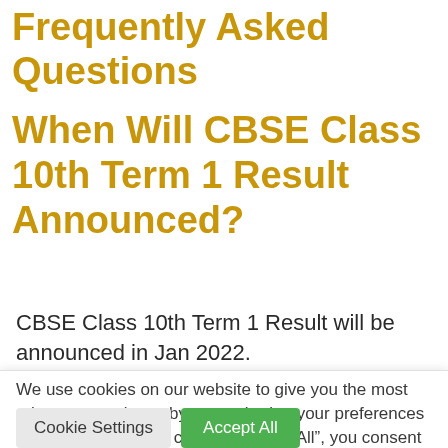Frequently Asked Questions
When Will CBSE Class 10th Term 1 Result Announced?
CBSE Class 10th Term 1 Result will be announced in Jan 2022.
We use cookies on our website to give you the most relevant experience by remembering your preferences and repeat visits. By clicking “Accept All”, you consent to the use of ALL the cookies. However, you may visit "Cookie Settings" to provide a controlled consent.